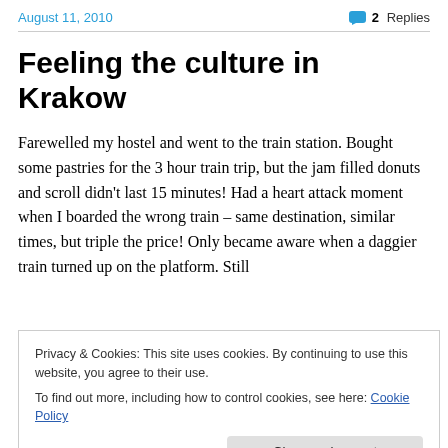August 11, 2010   2 Replies
Feeling the culture in Krakow
Farewelled my hostel and went to the train station. Bought some pastries for the 3 hour train trip, but the jam filled donuts and scroll didn’t last 15 minutes! Had a heart attack moment when I boarded the wrong train – same destination, similar times, but triple the price! Only became aware when a daggier train turned up on the platform. Still
Privacy & Cookies: This site uses cookies. By continuing to use this website, you agree to their use.
To find out more, including how to control cookies, see here: Cookie Policy
to locate! It was in a courtyard and up a floor, so I could